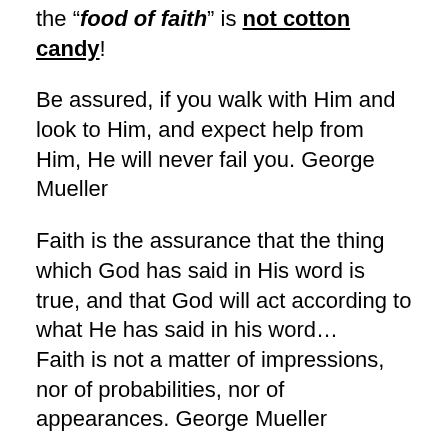the “food of faith” is not cotton candy!
Be assured, if you walk with Him and look to Him, and expect help from Him, He will never fail you. George Mueller
Faith is the assurance that the thing which God has said in His word is true, and that God will act according to what He has said in his word…
Faith is not a matter of impressions, nor of probabilities, nor of appearances. George Mueller
Faith is two empty hands held open to receive all of the Lord. Alan Redpath
If we desire our faith to be strengthened, we should not shrink from opportunities where our faith may be tried, and therefore, through trial,